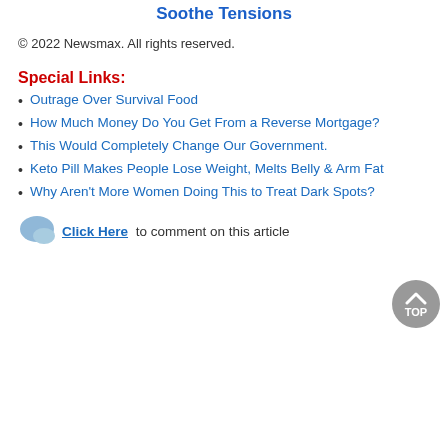Soothe Tensions
© 2022 Newsmax. All rights reserved.
Special Links:
Outrage Over Survival Food
How Much Money Do You Get From a Reverse Mortgage?
This Would Completely Change Our Government.
Keto Pill Makes People Lose Weight, Melts Belly & Arm Fat
Why Aren't More Women Doing This to Treat Dark Spots?
Click Here to comment on this article